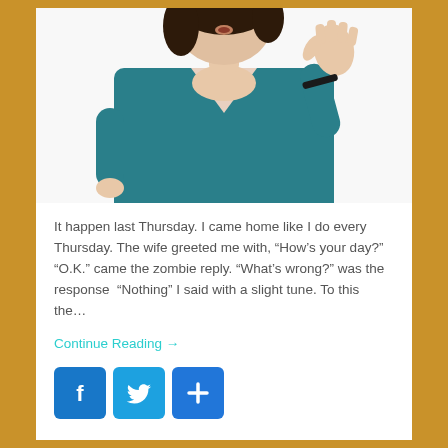[Figure (photo): A woman in a teal/blue long-sleeve top with her right arm raised and hand extended outward in a 'stop' or 'talk to the hand' gesture, photographed from approximately chest-up against a white background.]
It happen last Thursday. I came home like I do every Thursday. The wife greeted me with, “How’s your day?” “O.K.” came the zombie reply. “What’s wrong?” was the response  “Nothing” I said with a slight tune. To this the…
Continue Reading →